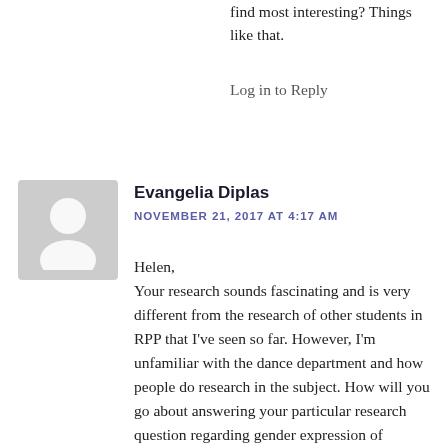find most interesting? Things like that.
Log in to Reply
Evangelia Diplas
NOVEMBER 21, 2017 AT 4:17 AM
Helen,
Your research sounds fascinating and is very different from the research of other students in RPP that I've seen so far. However, I'm unfamiliar with the dance department and how people do research in the subject. How will you go about answering your particular research question regarding gender expression of Taiwanese indigenous people? Will you be making a poster based off the literature you read and analyze, or is there also a dance